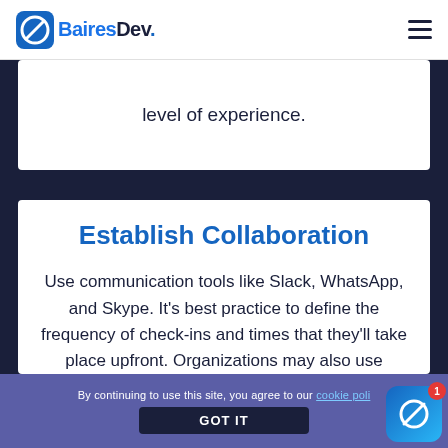BairesDev
level of experience.
Establish Collaboration
Use communication tools like Slack, WhatsApp, and Skype. It’s best practice to define the frequency of check-ins and times that they’ll take place upfront. Organizations may also use project
By continuing to use this site, you agree to our cookie poli…